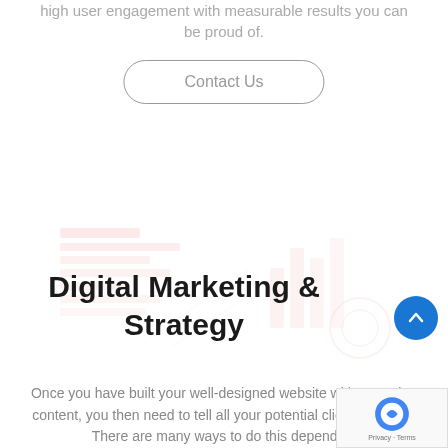high user engagement with measurable results you can be proud of.
Contact Us
Digital Marketing & Strategy
Once you have built your well-designed website with engaging content, you then need to tell all your potential clients it exists. There are many ways to do this depending